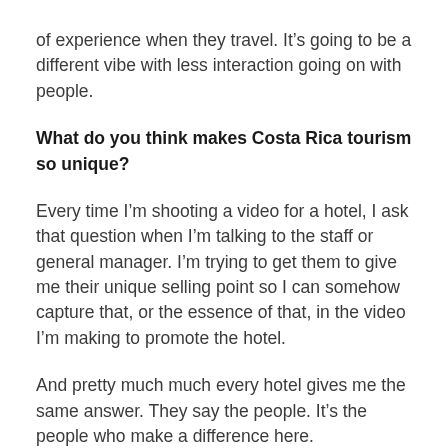of experience when they travel. It’s going to be a different vibe with less interaction going on with people.
What do you think makes Costa Rica tourism so unique?
Every time I’m shooting a video for a hotel, I ask that question when I’m talking to the staff or general manager. I’m trying to get them to give me their unique selling point so I can somehow capture that, or the essence of that, in the video I’m making to promote the hotel.
And pretty much much every hotel gives me the same answer. They say the people. It’s the people who make a difference here.